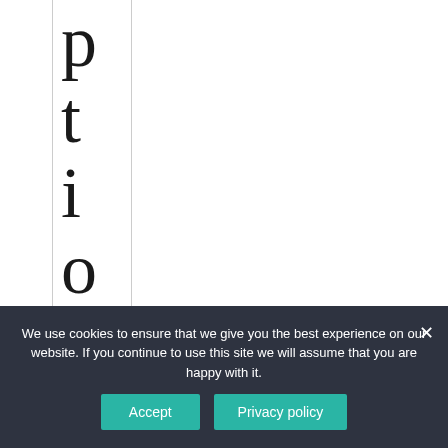p t i o n ?
6 y a y s
We use cookies to ensure that we give you the best experience on our website. If you continue to use this site we will assume that you are happy with it.
Accept
Privacy policy